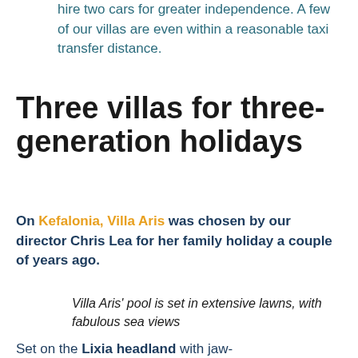hire two cars for greater independence. A few of our villas are even within a reasonable taxi transfer distance.
Three villas for three-generation holidays
On Kefalonia, Villa Aris was chosen by our director Chris Lea for her family holiday a couple of years ago.
Villa Aris' pool is set in extensive lawns, with fabulous sea views
Set on the Lixia headland with jaw-